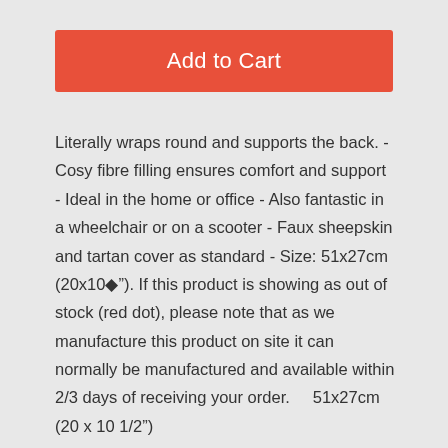Add to Cart
Literally wraps round and supports the back. - Cosy fibre filling ensures comfort and support - Ideal in the home or office - Also fantastic in a wheelchair or on a scooter - Faux sheepskin and tartan cover as standard - Size: 51x27cm (20x10◆"). If this product is showing as out of stock (red dot), please note that as we manufacture this product on site it can normally be manufactured and available within 2/3 days of receiving your order.    51x27cm (20 x 10 1/2")
Barcode: 5050996030258